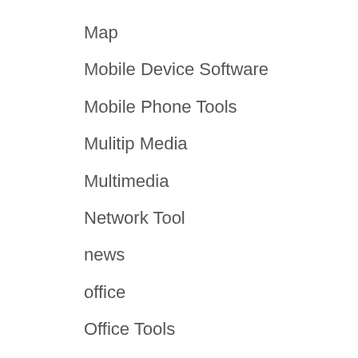Map
Mobile Device Software
Mobile Phone Tools
Mulitip Media
Multimedia
Network Tool
news
office
Office Tools
Opinion
Optimization